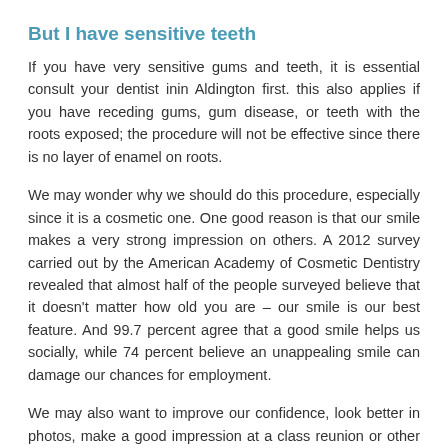But I have sensitive teeth
If you have very sensitive gums and teeth, it is essential consult your dentist inin Aldington first. this also applies if you have receding gums, gum disease, or teeth with the roots exposed; the procedure will not be effective since there is no layer of enamel on roots.
We may wonder why we should do this procedure, especially since it is a cosmetic one. One good reason is that our smile makes a very strong impression on others. A 2012 survey carried out by the American Academy of Cosmetic Dentistry revealed that almost half of the people surveyed believe that it doesn't matter how old you are – our smile is our best feature. And 99.7 percent agree that a good smile helps us socially, while 74 percent believe an unappealing smile can damage our chances for employment.
We may also want to improve our confidence, look better in photos, make a good impression at a class reunion or other social event or simply look younger and like what we see in the mirror each morning.